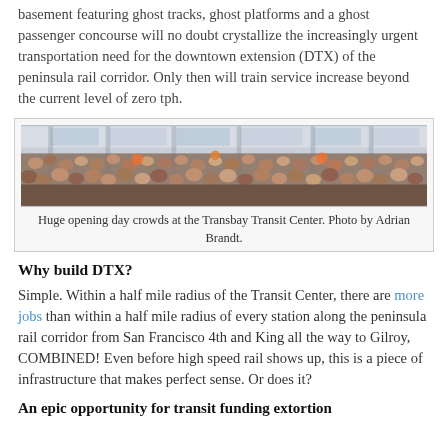basement featuring ghost tracks, ghost platforms and a ghost passenger concourse will no doubt crystallize the increasingly urgent transportation need for the downtown extension (DTX) of the peninsula rail corridor. Only then will train service increase beyond the current level of zero tph.
[Figure (photo): Photograph of a large crowd of people inside the Transbay Transit Center on opening day.]
Huge opening day crowds at the Transbay Transit Center. Photo by Adrian Brandt.
Why build DTX?
Simple. Within a half mile radius of the Transit Center, there are more jobs than within a half mile radius of every station along the peninsula rail corridor from San Francisco 4th and King all the way to Gilroy, COMBINED! Even before high speed rail shows up, this is a piece of infrastructure that makes perfect sense. Or does it?
An epic opportunity for transit funding extortion